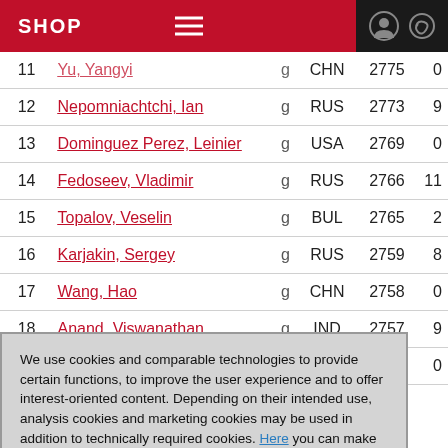SHOP
| # | Name | Title | Country | Rating | Games |
| --- | --- | --- | --- | --- | --- |
| 11 | Yu, Yangyi | g | CHN | 2775 | 0 |
| 12 | Nepomniachtchi, Ian | g | RUS | 2773 | 9 |
| 13 | Dominguez Perez, Leinier | g | USA | 2769 | 0 |
| 14 | Fedoseev, Vladimir | g | RUS | 2766 | 11 |
| 15 | Topalov, Veselin | g | BUL | 2765 | 2 |
| 16 | Karjakin, Sergey | g | RUS | 2759 | 8 |
| 17 | Wang, Hao | g | CHN | 2758 | 0 |
| 18 | Anand, Viswanathan | g | IND | 2757 | 9 |
| 19 | Kamsky, Gata | g | USA | 2755 | 0 |
We use cookies and comparable technologies to provide certain functions, to improve the user experience and to offer interest-oriented content. Depending on their intended use, analysis cookies and marketing cookies may be used in addition to technically required cookies. Here you can make detailed settings or revoke your consent (if necessary partially) with effect for the future. Further information can be found in our data protection declaration.